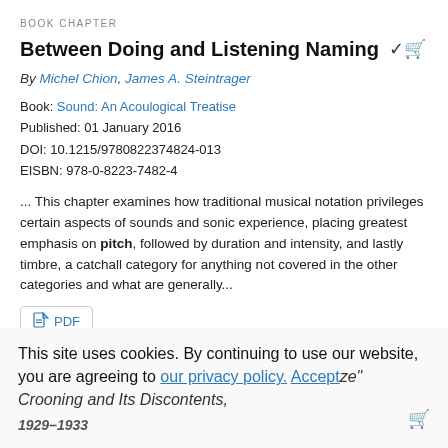BOOK CHAPTER
Between Doing and Listening Naming
By Michel Chion, James A. Steintrager
Book: Sound: An Acoulogical Treatise
Published: 01 January 2016
DOI: 10.1215/9780822374824-013
EISBN: 978-0-8223-7482-4
... This chapter examines how traditional musical notation privileges certain aspects of sounds and sonic experience, placing greatest emphasis on pitch, followed by duration and intensity, and lastly timbre, a catchall category for anything not covered in the other categories and what are generally...
PDF
This site uses cookies. By continuing to use our website, you are agreeing to our privacy policy. Accept
"ze" Crooning and Its Discontents, 1929–1933